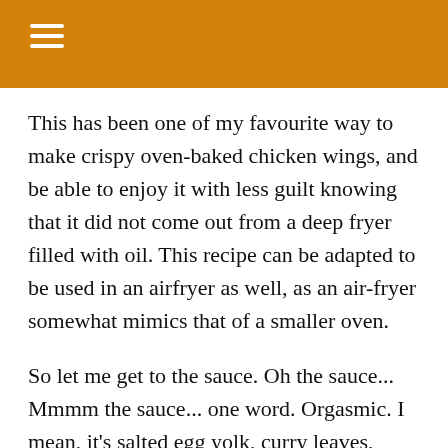This has been one of my favourite way to make crispy oven-baked chicken wings, and be able to enjoy it with less guilt knowing that it did not come out from a deep fryer filled with oil. This recipe can be adapted to be used in an airfryer as well, as an air-fryer somewhat mimics that of a smaller oven.
So let me get to the sauce. Oh the sauce... Mmmm the sauce... one word. Orgasmic. I mean, it's salted egg yolk, curry leaves, chilli padi, tad of curry powder to boost the aroma of curry leaves, a tad bit of sugar to balance the saltiness of the yolk, and then the creaminess of the evaporated milk. We made 12 mid wings that night, meant for 4. But I'll let you in on a little secret, the both